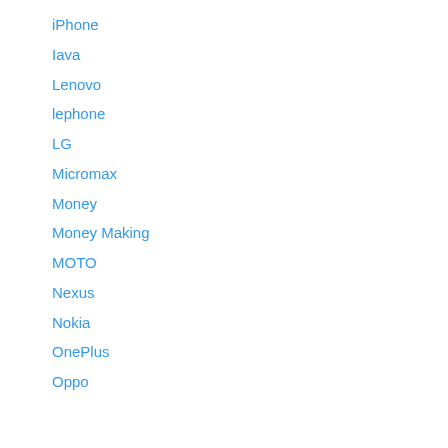iPhone
Iava
Lenovo
lephone
LG
Micromax
Money
Money Making
MOTO
Nexus
Nokia
OnePlus
Oppo